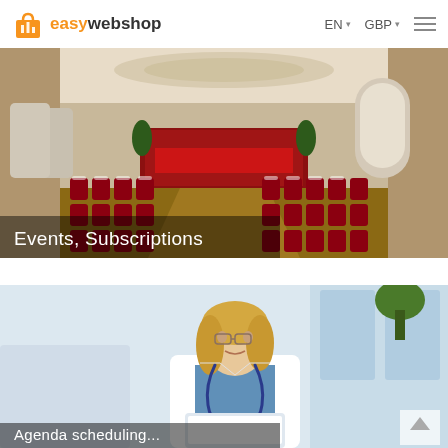easywebshop | EN | GBP
[Figure (photo): Conference hall with rows of chairs decorated with red sashes, stage with red table covering, ornate ceiling. Overlay text: Events, Subscriptions]
[Figure (photo): Female doctor in white coat with stethoscope, smiling, in bright medical office. Partial overlay text: Agenda scheduling]